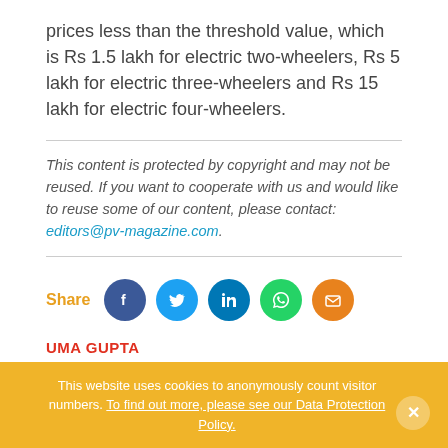prices less than the threshold value, which is Rs 1.5 lakh for electric two-wheelers, Rs 5 lakh for electric three-wheelers and Rs 15 lakh for electric four-wheelers.
This content is protected by copyright and may not be reused. If you want to cooperate with us and would like to reuse some of our content, please contact: editors@pv-magazine.com.
[Figure (infographic): Share row with Facebook, Twitter, LinkedIn, WhatsApp, and Email social media icons]
UMA GUPTA
This website uses cookies to anonymously count visitor numbers. To find out more, please see our Data Protection Policy.